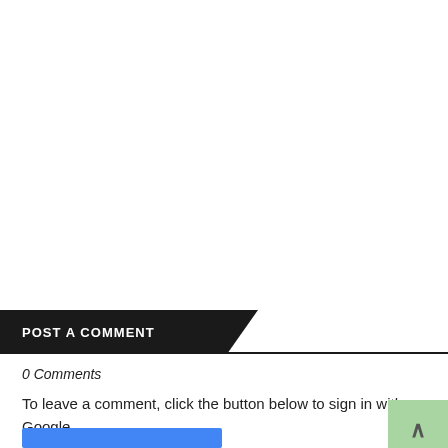POST A COMMENT
0 Comments
To leave a comment, click the button below to sign in with Google.